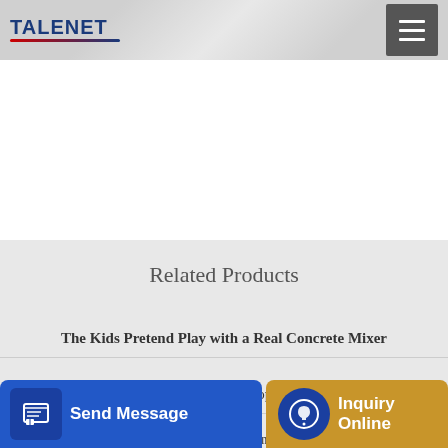TALENET
Related Products
The Kids Pretend Play with a Real Concrete Mixer
concrete mixer hopper
MERSEDES BENZ concrete mixer for E...
Send Message
Inquiry Online